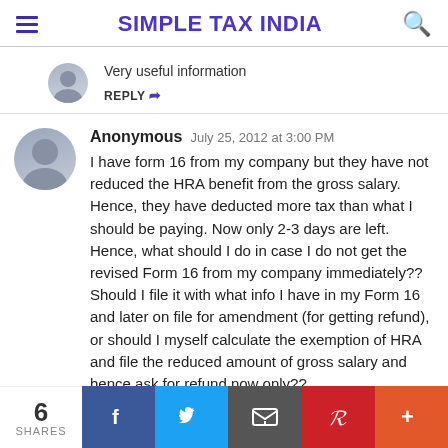SIMPLE TAX INDIA
Very useful information
REPLY
Anonymous July 25, 2012 at 3:00 PM
I have form 16 from my company but they have not reduced the HRA benefit from the gross salary. Hence, they have deducted more tax than what I should be paying. Now only 2-3 days are left. Hence, what should I do in case I do not get the revised Form 16 from my company immediately?? Should I file it with what info I have in my Form 16 and later on file for amendment (for getting refund), or should I myself calculate the exemption of HRA and file the reduced amount of gross salary and hence ask for refund now only??
6 SHARES